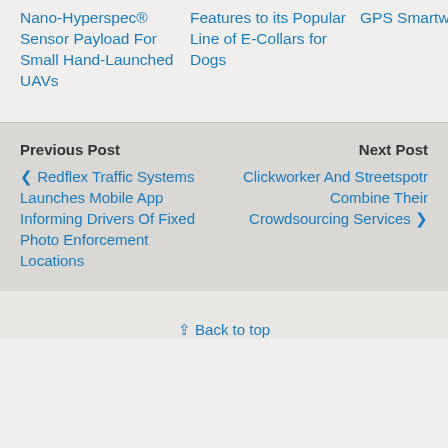Nano-Hyperspec® Sensor Payload For Small Hand-Launched UAVs
Features to its Popular Line of E-Collars for Dogs
GPS Smartwatch
Previous Post
Next Post
❮ Redflex Traffic Systems Launches Mobile App Informing Drivers Of Fixed Photo Enforcement Locations
Clickworker And Streetspotr Combine Their Crowdsourcing Services ❯
⇪ Back to top